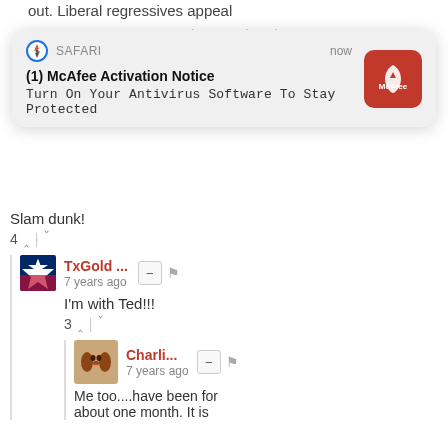out. Liberal regressives appeal
[Figure (screenshot): Safari browser notification popup: '(1) McAfee Activation Notice - Turn On Your Antivirus Software To Stay Protected' with McAfee red icon on the right, showing 'now' timestamp]
Slam dunk!
4 ^ | v
TxGold ... 7 years ago
I'm with Ted!!!
3 ^ | v
Charli... 7 years ago
Me too....have been for about one month. It is